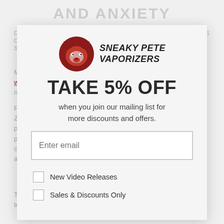AND ANXIETY
DISCLAIMER: THIS ARTICLE IS PROVIDED FOR INFORMATION PURPOSES ONLY AND IS NOT INTENDED AS MEDICAL ADVICE, OR AS THE SUBSTITUTE FOR THE MEDICAL ADVICE OF A PHYSICIAN.
[Figure (logo): Sneaky Pete Vaporizers logo — dark red fox/animal head illustration with text SNEAKY PETE VAPORIZERS in bold italic black]
TAKE 5% OFF
when you join our mailing list for more discounts and offers.
Medicinal cannabis has been legalized in 55 countries around the world to treat a range of symptoms like chronic pain, anxiety, nausea, anorexia, chemotherapy side effects and epilepsy.
Patients around the world—including Canada, Australia, New Zealand, the UK, and some states in the US—can now ask their physician for a medicinal cannabis or non-psychoactive CBD prescription. While the rules vary in different regions, legalization creates the option to treat a number of diseases, ranging from anxiety and nausea to Post Traumatic Stress Disorder.
Enter email
New Video Releases
Sales & Discounts Only
Today we're going to take a look at medicinal marijuana and the unique ways it can help treat anxiety and...